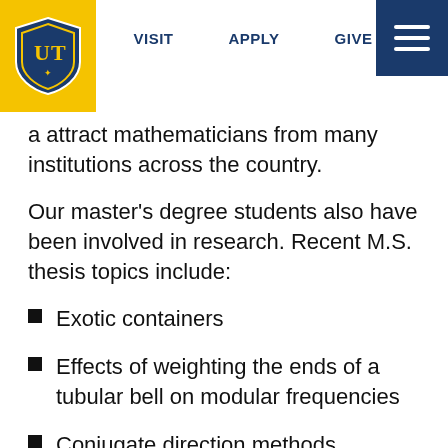VISIT  APPLY  GIVE
a attract mathematicians from many institutions across the country.
Our master's degree students also have been involved in research. Recent M.S. thesis topics include:
Exotic containers
Effects of weighting the ends of a tubular bell on modular frequencies
Conjugate direction methods
Boundary value problems for the Dirac